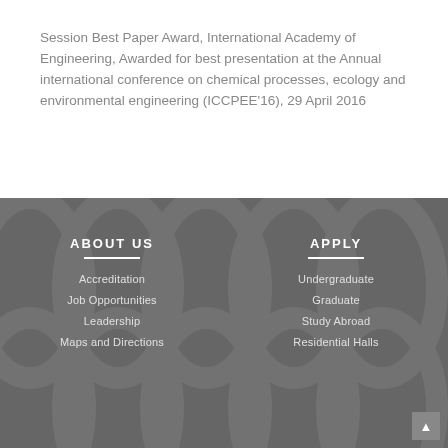Session Best Paper Award, International Academy of Engineering, Awarded for best presentation at the Annual international conference on chemical processes, ecology and environmental engineering (ICCPEE'16), 29 April 2016
ABOUT US
Accreditation
Job Opportunities
Leadership
Maps and Directions
APPLY
Undergraduate
Graduate
Study Abroad
Residential Halls